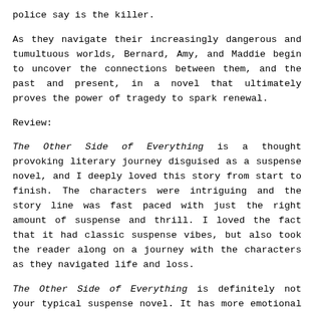police say is the killer.
As they navigate their increasingly dangerous and tumultuous worlds, Bernard, Amy, and Maddie begin to uncover the connections between them, and the past and present, in a novel that ultimately proves the power of tragedy to spark renewal.
Review:
The Other Side of Everything is a thought provoking literary journey disguised as a suspense novel, and I deeply loved this story from start to finish. The characters were intriguing and the story line was fast paced with just the right amount of suspense and thrill. I loved the fact that it had classic suspense vibes, but also took the reader along on a journey with the characters as they navigated life and loss.
The Other Side of Everything is definitely not your typical suspense novel. It has more emotional components than most thriller/suspense novels, but do NOT let that turn you away. It